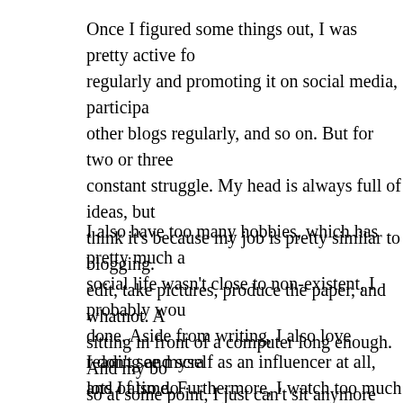Once I figured some things out, I was pretty active fo regularly and promoting it on social media, participa other blogs regularly, and so on. But for two or three constant struggle. My head is always full of ideas, but think it's because my job is pretty similar to blogging. edit, take pictures, produce the paper, and whatnot. A sitting in front of a computer long enough. And my bo so at some point, I just can't sit anymore without beir
I also have too many hobbies, which has pretty much a social life wasn't close to non-existent, I probably wou done. Aside from writing, I also love reading and scra lots of time. Furthermore, I watch too much Netflix, e while doing most other things, except for reading. I a huge procrastinator.
I don't see myself as an influencer at all, and I also do nobody should be influenced by others. Always form y